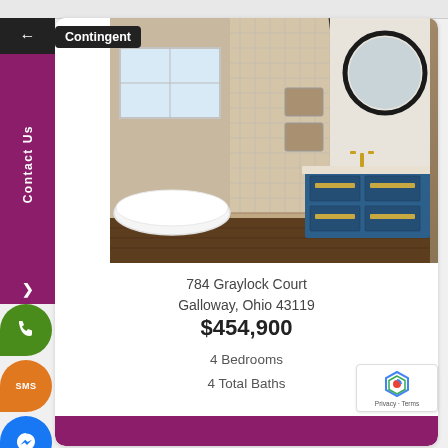Contingent
[Figure (photo): Bathroom interior with freestanding white soaking tub, tiled walk-in shower with two niche shelves, black shower fixtures, round black-framed mirror, blue vanity cabinet with gold hardware and gold faucet, white marble countertop]
784 Graylock Court
Galloway, Ohio 43119
$454,900
4 Bedrooms
4 Total Baths